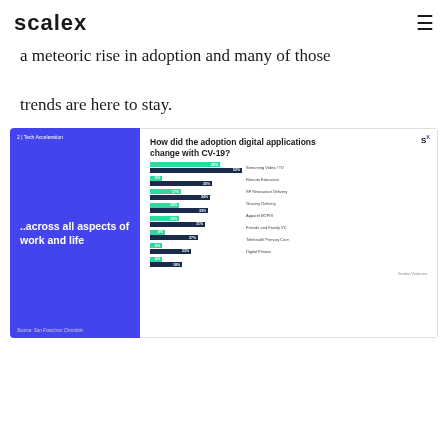scalex
a meteoric rise in adoption and many of those trends are here to stay.
[Figure (grouped-bar-chart): How did the adoption digital applications change with CV-19?]
..across all aspects of work and life
Source: San Francisco Chronicle